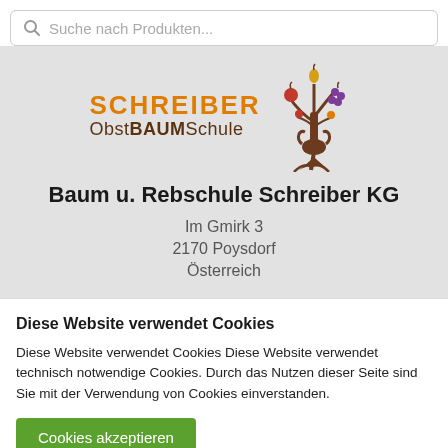Suche nach Produkten...
[Figure (logo): Schreibe Obstbaumschule logo with tree illustration holding fruit]
Baum u. Rebschule Schreiber KG
Im Gmirk 3
2170 Poysdorf
Österreich
Diese Website verwendet Cookies
Diese Website verwendet Cookies Diese Website verwendet technisch notwendige Cookies. Durch das Nutzen dieser Seite sind Sie mit der Verwendung von Cookies einverstanden.
Cookies akzeptieren